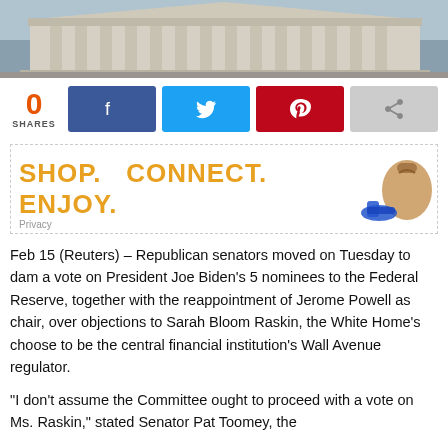[Figure (photo): Top banner photo of a government building, likely the U.S. Capitol or Federal Reserve building exterior.]
0 SHARES
[Figure (infographic): Social share buttons: Facebook (blue), Twitter (light blue), Pinterest (red), Forward/share (gray). Count shows 0 SHARES.]
[Figure (other): Advertisement banner reading SHOP. CONNECT. ENJOY. with an image of a handbag and sneakers on the right.]
Feb 15 (Reuters) – Republican senators moved on Tuesday to dam a vote on President Joe Biden's 5 nominees to the Federal Reserve, together with the reappointment of Jerome Powell as chair, over objections to Sarah Bloom Raskin, the White Home's choose to be the central financial institution's Wall Avenue regulator.
“I don’t assume the Committee ought to proceed with a vote on Ms. Raskin,” stated Senator Pat Toomey, the